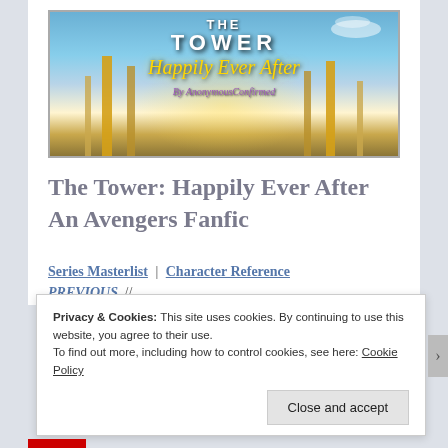[Figure (illustration): Book cover image for 'The Tower: Happily Ever After' - an Avengers fanfic, showing a fantasy golden city/tower scene with dramatic sky background. Title text in white block letters reads 'THE TOWER' and subtitle in gold italic script reads 'Happily Ever After'. Author signature in purple italic script below.]
The Tower: Happily Ever After
An Avengers Fanfic
Series Masterlist | Character Reference
PREVIOUS //
Privacy & Cookies: This site uses cookies. By continuing to use this website, you agree to their use.
To find out more, including how to control cookies, see here: Cookie Policy
Close and accept